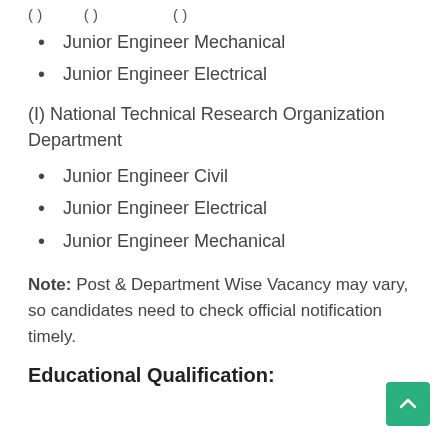( ) ... ( ) ... ( ) ...
Junior Engineer Mechanical
Junior Engineer Electrical
(I) National Technical Research Organization Department
Junior Engineer Civil
Junior Engineer Electrical
Junior Engineer Mechanical
Note: Post & Department Wise Vacancy may vary, so candidates need to check official notification timely.
Educational Qualification: